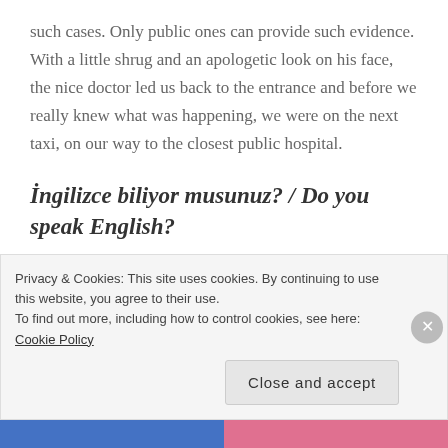such cases. Only public ones can provide such evidence. With a little shrug and an apologetic look on his face, the nice doctor led us back to the entrance and before we really knew what was happening, we were on the next taxi, on our way to the closest public hospital.
İngilizce biliyor musunuz? / Do you speak English?
You might be wondering whether it was really a good idea for four foreign girls in their twenties to
Privacy & Cookies: This site uses cookies. By continuing to use this website, you agree to their use.
To find out more, including how to control cookies, see here: Cookie Policy
Close and accept